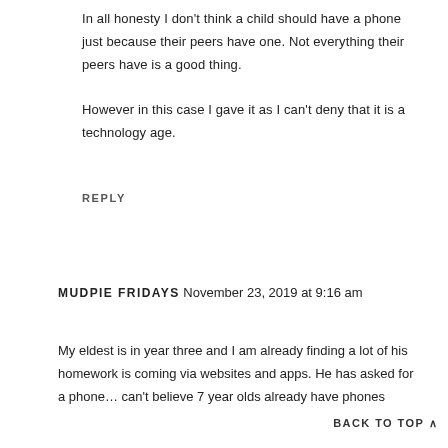In all honesty I don't think a child should have a phone just because their peers have one. Not everything their peers have is a good thing.

However in this case I gave it as I can't deny that it is a technology age.
REPLY
MUDPIE FRIDAYS November 23, 2019 at 9:16 am
My eldest is in year three and I am already finding a lot of his homework is coming via websites and apps. He has asked for a phone… can't believe 7 year olds already have phones
BACK TO TOP ∧